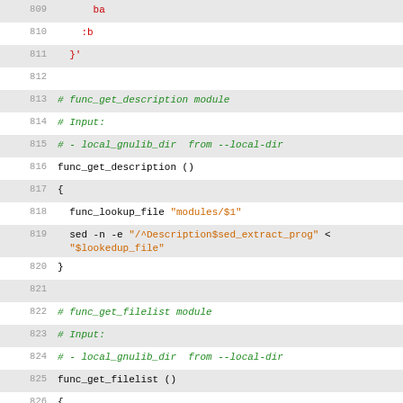[Figure (screenshot): Source code listing showing shell script functions func_get_description and func_get_filelist, lines 809-831, with syntax highlighting: line numbers in gray, comments in green italic, strings in orange, keywords in red/purple, regular code in black/dark.]